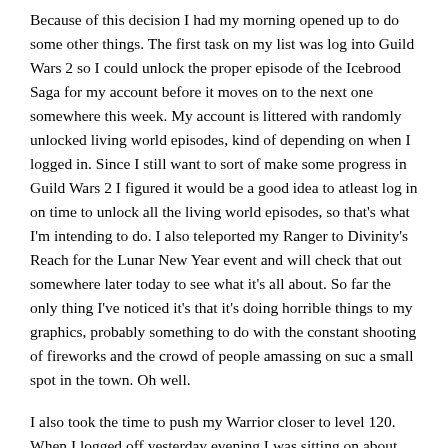Because of this decision I had my morning opened up to do some other things. The first task on my list was log into Guild Wars 2 so I could unlock the proper episode of the Icebrood Saga for my account before it moves on to the next one somewhere this week. My account is littered with randomly unlocked living world episodes, kind of depending on when I logged in. Since I still want to sort of make some progress in Guild Wars 2 I figured it would be a good idea to atleast log in on time to unlock all the living world episodes, so that's what I'm intending to do. I also teleported my Ranger to Divinity's Reach for the Lunar New Year event and will check that out somewhere later today to see what it's all about. So far the only thing I've noticed it's that it's doing horrible things to my graphics, probably something to do with the constant shooting of fireworks and the crowd of people amassing on suc a small spot in the town. Oh well.
I also took the time to push my Warrior closer to level 120. When I logged off yesterday evening I was sitting on about 40% into level 118. I started up the quests in Drustvar, after completing everything in Tiragarde Sound, and queued up for Tol Dagor since